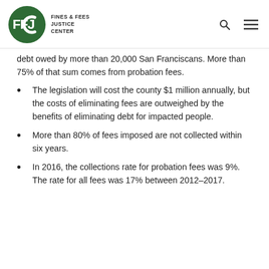FINES & FEES JUSTICE CENTER
debt owed by more than 20,000 San Franciscans. More than 75% of that sum comes from probation fees.
The legislation will cost the county $1 million annually, but the costs of eliminating fees are outweighed by the benefits of eliminating debt for impacted people.
More than 80% of fees imposed are not collected within six years.
In 2016, the collections rate for probation fees was 9%. The rate for all fees was 17% between 2012–2017.